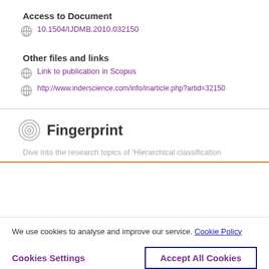Access to Document
10.1504/IJDMB.2010.032150
Other files and links
Link to publication in Scopus
http://www.inderscience.com/info/inarticle.php?artid=32150
Fingerprint
Dive into the research topics of 'Hierarchical classification
We use cookies to analyse and improve our service. Cookie Policy
Cookies Settings
Accept All Cookies